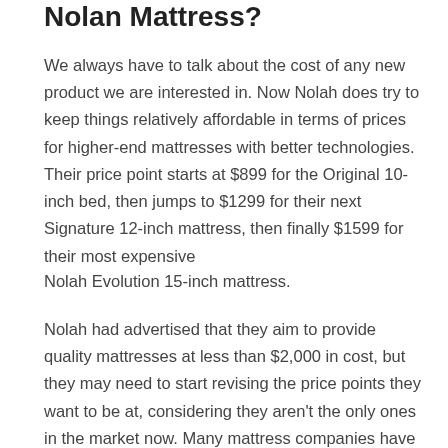Nolan Mattress?
We always have to talk about the cost of any new product we are interested in. Now Nolah does try to keep things relatively affordable in terms of prices for higher-end mattresses with better technologies. Their price point starts at $899 for the Original 10-inch bed, then jumps to $1299 for their next Signature 12-inch mattress, then finally $1599 for their most expensive
Nolah Evolution 15-inch mattress.
Nolah had advertised that they aim to provide quality mattresses at less than $2,000 in cost, but they may need to start revising the price points they want to be at, considering they aren't the only ones in the market now. Many mattress companies have taken advantage of better logistics, direct-to-consumer marketing, and more efficient production to streamline and lower costs on their mattresses. This means that the benchmark of $2,000 that Nolah